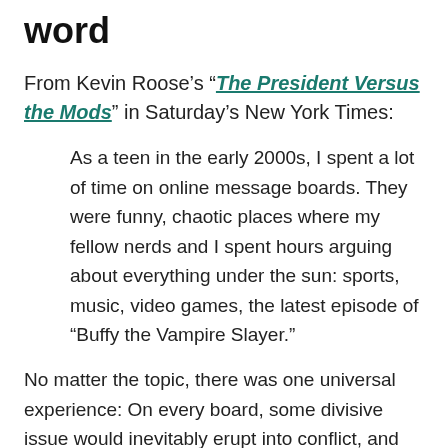word
From Kevin Roose's "The President Versus the Mods" in Saturday's New York Times:
As a teen in the early 2000s, I spent a lot of time on online message boards. They were funny, chaotic places where my fellow nerds and I spent hours arguing about everything under the sun: sports, music, video games, the latest episode of “Buffy the Vampire Slayer.”
No matter the topic, there was one universal experience: On every board, some divisive issue would inevitably erupt into conflict, and an angry group of users — often led by a single, vocal one who felt they were being